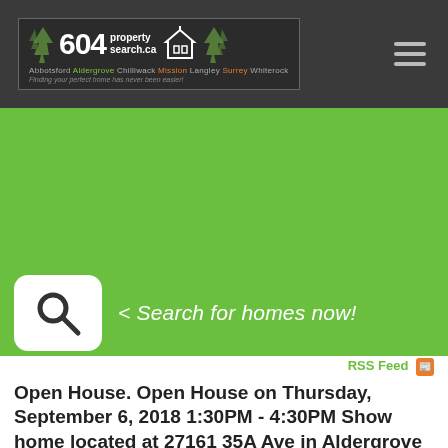604 property search.ca — Abbotsford Aldergrove Chilliwack Mission Langley Surrey Whiterock — Finding your perfect home has never been easier!
[Figure (screenshot): Green banner with search icon and '< Search for homes now!' text]
RSS Feed
Open House. Open House on Thursday, September 6, 2018 1:30PM - 4:30PM Show home located at 27161 35A Ave in Aldergrove
Posted on September 5, 2018 by Rick VanPapeveld